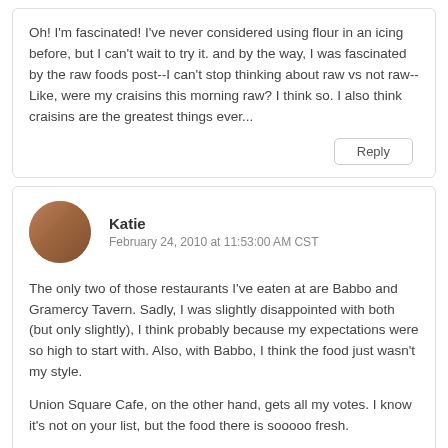Oh! I'm fascinated! I've never considered using flour in an icing before, but I can't wait to try it. and by the way, I was fascinated by the raw foods post--I can't stop thinking about raw vs not raw--Like, were my craisins this morning raw? I think so. I also think craisins are the greatest things ever...
Reply
Katie
February 24, 2010 at 11:53:00 AM CST
The only two of those restaurants I've eaten at are Babbo and Gramercy Tavern. Sadly, I was slightly disappointed with both (but only slightly), I think probably because my expectations were so high to start with. Also, with Babbo, I think the food just wasn't my style.
Union Square Cafe, on the other hand, gets all my votes. I know it's not on your list, but the food there is sooooo fresh.
Have fun wherever you go!